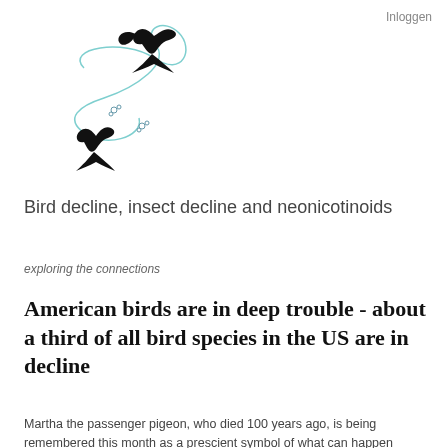Inloggen
[Figure (illustration): Decorative illustration of two black swallow silhouettes and two small flower/butterfly shapes connected by a curling light blue line on a white background]
Bird decline, insect decline and neonicotinoids
exploring the connections
American birds are in deep trouble - about a third of all bird species in the US are in decline
Martha the passenger pigeon, who died 100 years ago, is being remembered this month as a prescient symbol of what can happen